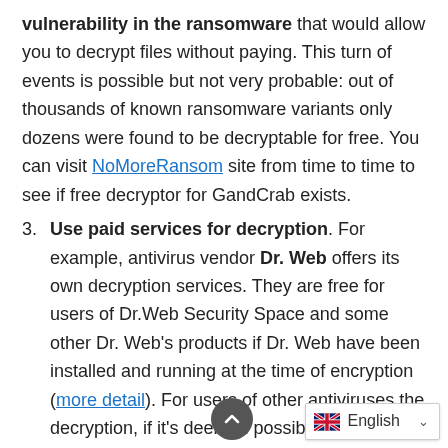vulnerability in the ransomware that would allow you to decrypt files without paying. This turn of events is possible but not very probable: out of thousands of known ransomware variants only dozens were found to be decryptable for free. You can visit NoMoreRansom site from time to time to see if free decryptor for GandCrab exists.
3. Use paid services for decryption. For example, antivirus vendor Dr. Web offers its own decryption services. They are free for users of Dr.Web Security Space and some other Dr. Web's products if Dr. Web have been installed and running at the time of encryption (more detail). For users of other antiviruses the decryption, if it's deemed possible, will cost €150. According to Dr.